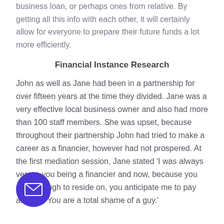business loan, or perhaps ones from relative. By getting all this info with each other, it will certainly allow for everyone to prepare their future funds a lot more efficiently.
Financial Instance Research
John as well as Jane had been in a partnership for over fifteen years at the time they divided. Jane was a very effective local business owner and also had more than 100 staff members. She was upset, because throughout their partnership John had tried to make a career as a financier, however had not prospered. At the first mediation session, Jane stated 'I was always versus you being a financier and now, because you earn enough to reside on, you anticipate me to pay alimony. You are a total shame of a guy.'